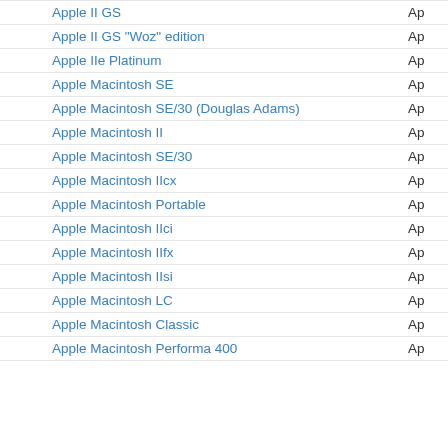Apple II GS
Apple II GS "Woz" edition
Apple IIe Platinum
Apple Macintosh SE
Apple Macintosh SE/30 (Douglas Adams)
Apple Macintosh II
Apple Macintosh SE/30
Apple Macintosh IIcx
Apple Macintosh Portable
Apple Macintosh IIci
Apple Macintosh IIfx
Apple Macintosh IIsi
Apple Macintosh LC
Apple Macintosh Classic
Apple Macintosh Performa 400